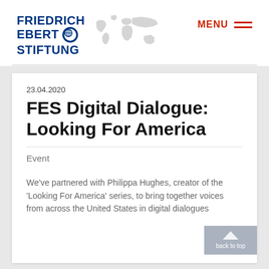[Figure (logo): Friedrich Ebert Stiftung logo with globe icon and world map graphic in header]
MENU
23.04.2020
FES Digital Dialogue: Looking For America
Event
We've partnered with Philippa Hughes, creator of the 'Looking For America' series, to bring together voices from across the United States in digital dialogues